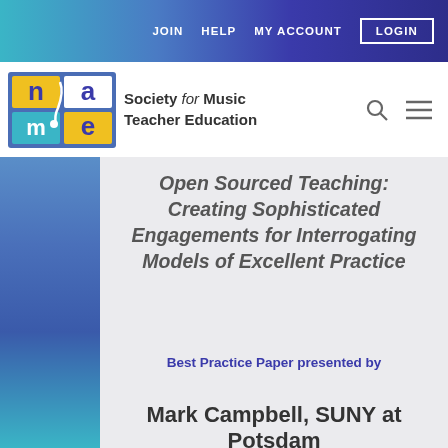JOIN   HELP   MY ACCOUNT   LOGIN
[Figure (logo): NAME - Society for Music Teacher Education logo with blue/teal/yellow grid squares and stylized text]
Open Sourced Teaching: Creating Sophisticated Engagements for Interrogating Models of Excellent Practice
Best Practice Paper presented by
Mark Campbell, SUNY at Potsdam